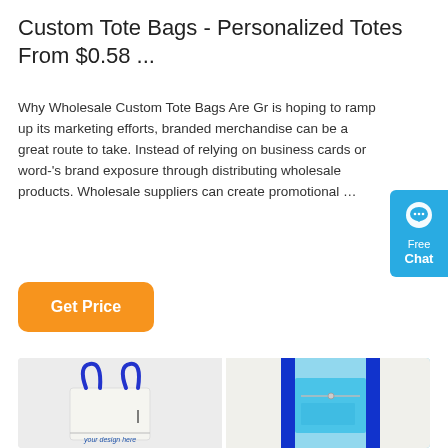Custom Tote Bags - Personalized Totes From $0.58 ...
Why Wholesale Custom Tote Bags Are Gr is hoping to ramp up its marketing efforts, branded merchandise can be a great route to take. Instead of relying on business cards or word-'s brand exposure through distributing wholesale products. Wholesale suppliers can create promotional …
[Figure (other): Blue chat widget button with speech bubble icon, labeled 'Free Chat']
[Figure (other): Orange 'Get Price' button]
[Figure (photo): Two photos of custom tote bags: left shows white tote bag with blue handles and 'your design here' text; right shows interior of white tote bag with blue trim and cyan lining with zipper pocket]